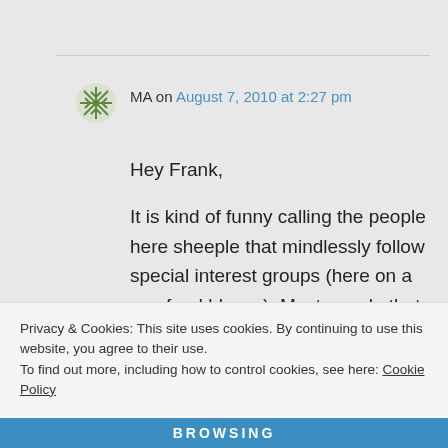MA on August 7, 2010 at 2:27 pm
Hey Frank,

It is kind of funny calling the people here sheeple that mindlessly follow special interest groups (here on a raw food blog…). Most people that have come here are probably either
Privacy & Cookies: This site uses cookies. By continuing to use this website, you agree to their use.
To find out more, including how to control cookies, see here: Cookie Policy
Close and accept